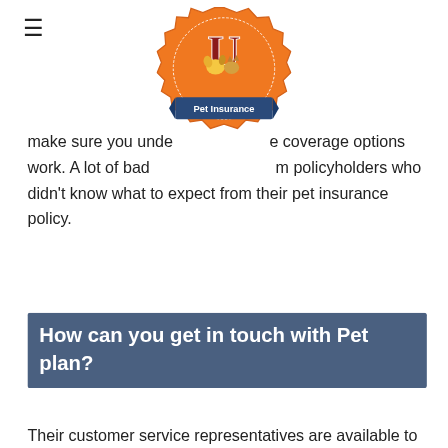[Figure (logo): Pet Insurance U logo — orange badge with red letter U, dog and cat cartoon, blue ribbon banner reading 'Pet Insurance']
make sure you understand how the coverage options work. A lot of bad reviews come from policyholders who didn't know what to expect from their pet insurance policy.
How can you get in touch with Pet plan?
Their customer service representatives are available to help you and answer all your questions at 1-800-241-8141. You can also find contact forms at gopetplan.com.
Do you have to take your pet to the vet before signing up with Petplan?